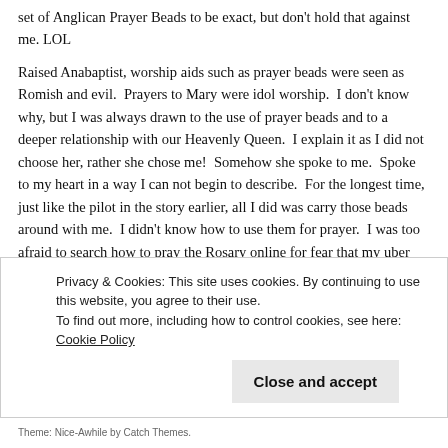set of Anglican Prayer Beads to be exact, but don't hold that against me. LOL
Raised Anabaptist, worship aids such as prayer beads were seen as Romish and evil.  Prayers to Mary were idol worship.  I don't know why, but I was always drawn to the use of prayer beads and to a deeper relationship with our Heavenly Queen.  I explain it as I did not choose her, rather she chose me!  Somehow she spoke to me.  Spoke to my heart in a way I can not begin to describe.  For the longest time, just like the pilot in the story earlier, all I did was carry those beads around with me.  I didn't know how to use them for prayer.  I was too afraid to search how to pray the Rosary online for fear that my uber Protestant parents would spaz on me!  Although I never used them for prayer, those beads provided me with strength and with comfort.  It was as if the love of Mary and of her Son Jesus were in those beads and every time I clutched them in my hand it
Privacy & Cookies: This site uses cookies. By continuing to use this website, you agree to their use.
To find out more, including how to control cookies, see here: Cookie Policy
Close and accept
Theme: Nice-Awhile by Catch Themes.